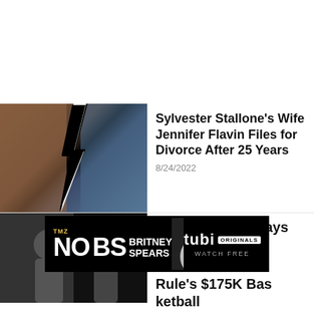[Figure (photo): Sylvester Stallone and Jennifer Flavin split composite photo with lightning bolt graphic between them]
Sylvester Stallone's Wife Jennifer Flavin Files for Divorce After 25 Years
8/24/2022
[Figure (photo): Gilbert Arenas, partial basketball article thumbnail]
Gilbert Arenas Says He ... Rule's $175K Basketball Bet
[Figure (infographic): TMZ No BS Britney Spears advertisement banner with Tubi Originals Watch Free branding]